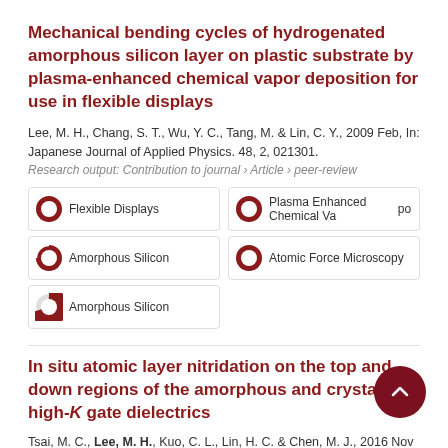Mechanical bending cycles of hydrogenated amorphous silicon layer on plastic substrate by plasma-enhanced chemical vapor deposition for use in flexible displays
Lee, M. H., Chang, S. T., Wu, Y. C., Tang, M. & Lin, C. Y., 2009 Feb, In: Japanese Journal of Applied Physics. 48, 2, 021301.
Research output: Contribution to journal › Article › peer-review
[Figure (infographic): Five keyword badge icons with donut-style percentage indicators: Flexible Displays (100%), Plasma Enhanced Chemical Vapor (100%), Amorphous Silicon (100%), Atomic Force Microscopy (100%), Amorphous Silicon (67%)]
In situ atomic layer nitridation on the top and down regions of the amorphous and crystalline high-K gate dielectrics
Tsai, M. C., Lee, M. H., Kuo, C. L., Lin, H. C. & Chen, M. J., 2016 Nov 30, In: Applied Surface Science. 387, p. 274-279 6 p.